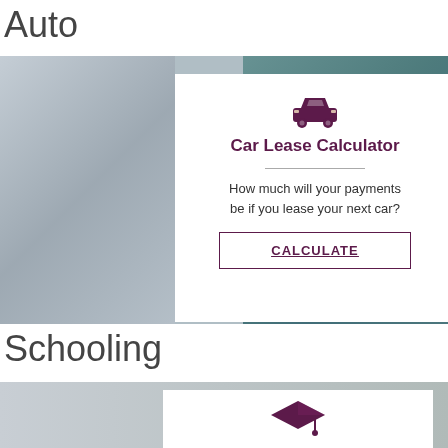Auto
[Figure (screenshot): Banner image showing a car interior scene with a white card overlay. The card contains a car icon, title 'Car Lease Calculator', a horizontal divider, descriptive text, and a CALCULATE button. A 'SIGN IN' vertical tab appears on the right edge.]
Schooling
[Figure (screenshot): Bottom banner image showing the beginning of a Schooling section with a graduation cap icon visible in a white card overlay.]